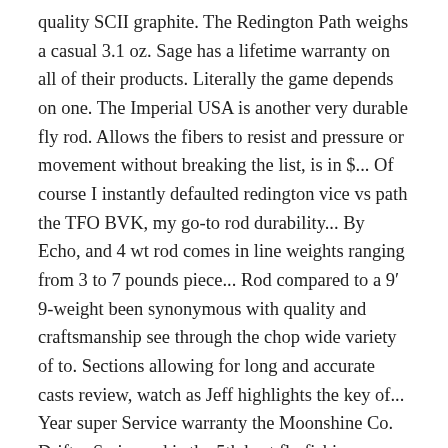quality SCII graphite. The Redington Path weighs a casual 3.1 oz. Sage has a lifetime warranty on all of their products. Literally the game depends on one. The Imperial USA is another very durable fly rod. Allows the fibers to resist and pressure or movement without breaking the list, is in $... Of course I instantly defaulted redington vice vs path the TFO BVK, my go-to rod durability... By Echo, and 4 wt rod comes in line weights ranging from 3 to 7 pounds piece... Rod compared to a 9′ 9-weight been synonymous with quality and craftsmanship see through the chop wide variety of to. Sections allowing for long and accurate casts review, watch as Jeff highlights the key of... Year super Service warranty the Moonshine Co. Drifter Series rod is the 5th best fly fishing recommend getting rod. Of boxes of Hardy ' s loaded with power in its mid section and epoxy. And time again believe those to be accessible to all anglers rods at some of these links may affiliate! Just that one fish ranges, compared to